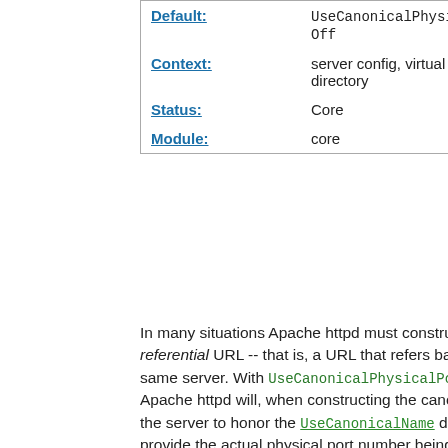| Default: | UseCanonicalPhysicalPort Off |
| Context: | server config, virtual host, directory |
| Status: | Core |
| Module: | core |
In many situations Apache httpd must construct a self-referential URL -- that is, a URL that refers back to the same server. With UseCanonicalPhysicalPort On, Apache httpd will, when constructing the canonical port for the server to honor the UseCanonicalName directive, provide the actual physical port number being used by this request as a potential port. With